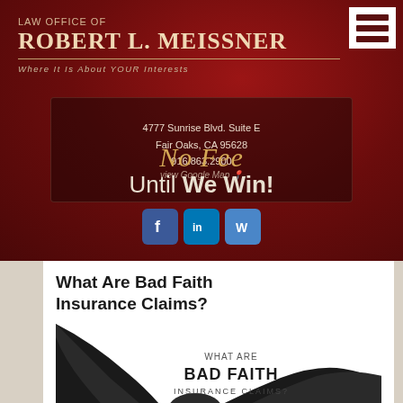LAW OFFICE OF ROBERT L. MEISSNER
Where It Is About YOUR Interests
4777 Sunrise Blvd. Suite E
Fair Oaks, CA 95628
916.863.2900
view Google Map
No Fee Until We Win!
[Figure (logo): Social media icons: Facebook, LinkedIn, WordPress]
What Are Bad Faith Insurance Claims?
[Figure (illustration): Black and white image with silhouettes of hands and text 'WHAT ARE BAD FAITH INSURANCE CLAIMS?']